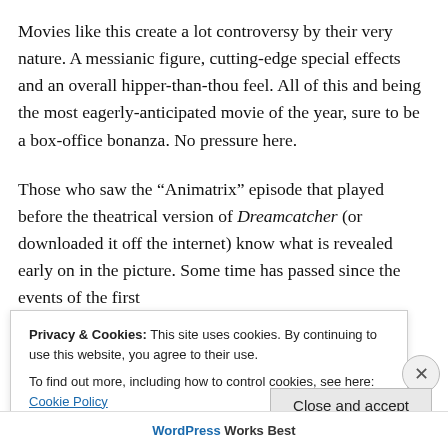Movies like this create a lot controversy by their very nature. A messianic figure, cutting-edge special effects and an overall hipper-than-thou feel. All of this and being the most eagerly-anticipated movie of the year, sure to be a box-office bonanza. No pressure here.
Those who saw the “Animatrix” episode that played before the theatrical version of Dreamcatcher (or downloaded it off the internet) know what is revealed early on in the picture. Some time has passed since the events of the first
Privacy & Cookies: This site uses cookies. By continuing to use this website, you agree to their use.
To find out more, including how to control cookies, see here: Cookie Policy
Close and accept
WordPress Works Best